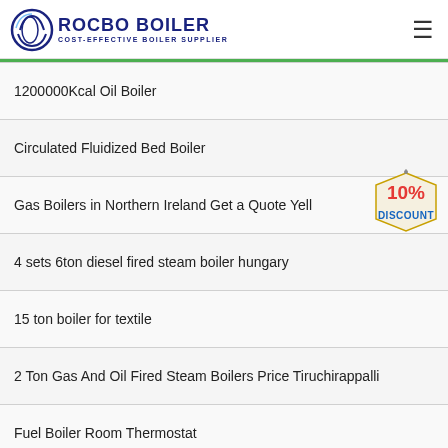ROCBO BOILER - COST-EFFECTIVE BOILER SUPPLIER
1200000Kcal Oil Boiler
Circulated Fluidized Bed Boiler
Gas Boilers in Northern Ireland Get a Quote Yell
4 sets 6ton diesel fired steam boiler hungary
15 ton boiler for textile
2 Ton Gas And Oil Fired Steam Boilers Price Tiruchirappalli
Fuel Boiler Room Thermostat
Boiler Automatic Blowdown System Complete Set Manufacture...